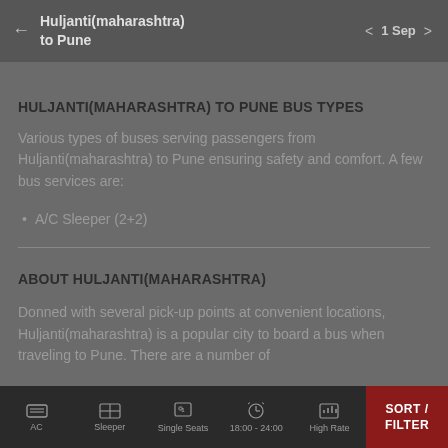Huljanti(maharashtra) to Pune — 1 Sep
HULJANTI(MAHARASHTRA) TO PUNE BUS TYPES
Various types of buses serving passengers from Huljanti(maharashtra) to Pune ensuring safety and comfort. A few bus services are:
A/C Sleeper (2+2)
ABOUT HULJANTI(MAHARASHTRA)
Donned with several pick-up points at convenient locations, Huljanti(maharashtra) is a popular city to board a bus when traveling to Pune. There are a number of
AC  Sleeper  Single Seats  18:00 - 24:00  High Rate  SORT / FILTER